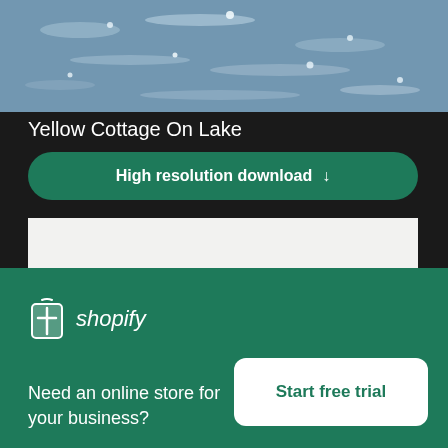[Figure (photo): Photo of shimmering water surface, cropped at top of page]
Yellow Cottage On Lake
High resolution download ↓
[Figure (photo): Photo showing trees and back of a person's head against a bright sky]
×
[Figure (logo): Shopify logo — shopping bag icon with 'shopify' wordmark in white]
Need an online store for your business?
Start free trial